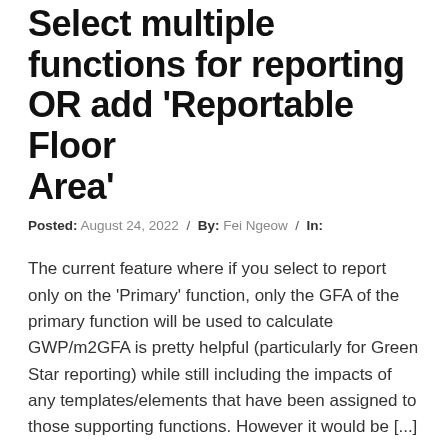Select multiple functions for reporting OR add 'Reportable Floor Area'
Posted: August 24, 2022 / By: Fei Ngeow / In:
The current feature where if you select to report only on the 'Primary' function, only the GFA of the primary function will be used to calculate GWP/m2GFA is pretty helpful (particularly for Green Star reporting) while still including the impacts of any templates/elements that have been assigned to those supporting functions. However it would be [...]
Read More >
Share templates accross multiple organisations